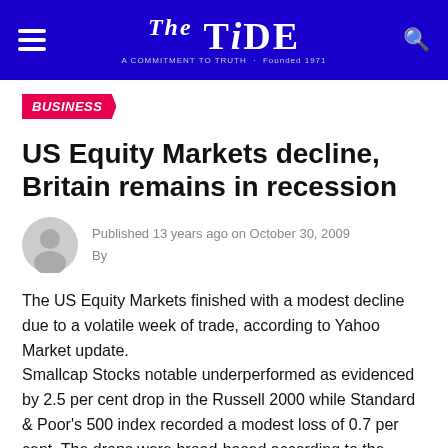The TIDE — Business News
BUSINESS
US Equity Markets decline, Britain remains in recession
Published 13 years ago on October 30, 2009
By
The US Equity Markets finished with a modest decline due to a volatile week of trade, according to Yahoo Market update.
Smallcap Stocks notable underperformed as evidenced by 2.5 per cent drop in the Russell 2000 while Standard & Poor's 500 index recorded a modest loss of 0.7 per cent. The drops were broad-based according to the report as nine of the ten sectors that make up the index finished lower topped by material with 1.8 per cent decline. Only